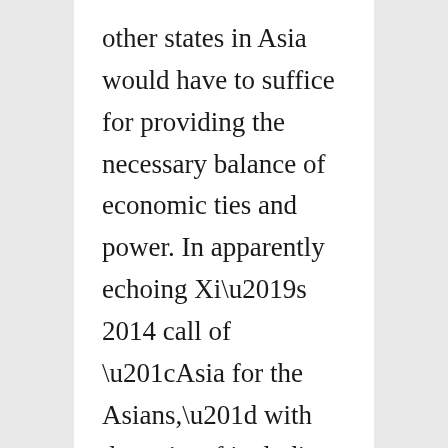other states in Asia would have to suffice for providing the necessary balance of economic ties and power. In apparently echoing Xi’s 2014 call of “Asia for the Asians,” with the twist of including Eurasians, Russia was leaving itself vulnerable—economically, geopolitically, and even culturally.